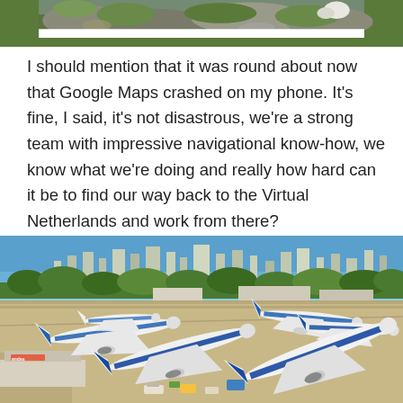[Figure (photo): Partial view of a nature/rock scene with green vegetation, cropped at the top of the page.]
I should mention that it was round about now that Google Maps crashed on my phone. It's fine, I said, it's not disastrous, we're a strong team with impressive navigational know-how, we know what we're doing and really how hard can it be to find our way back to the Virtual Netherlands and work from there?
[Figure (photo): Aerial view of an airport tarmac with multiple blue and white commercial airplanes parked, a city skyline visible in the background under a clear blue sky.]